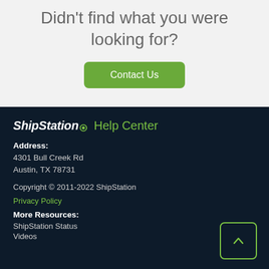Didn't find what you were looking for?
Contact Us
[Figure (logo): ShipStation Help Center logo with gear icon]
Address: 4301 Bull Creek Rd Austin, TX 78731
Copyright © 2011-2022 ShipStation
Privacy Policy
More Resources: ShipStation Status Videos